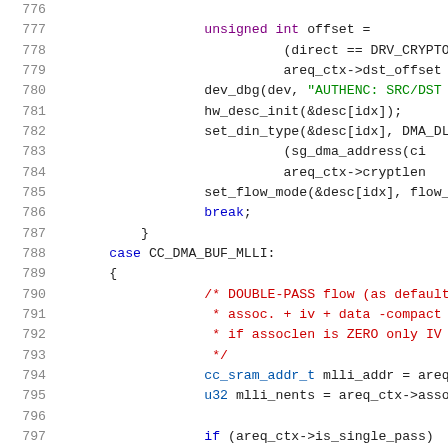[Figure (screenshot): Source code listing showing C code lines 776-797 with syntax highlighting. Line numbers in grey on the left, code in various colors (blue for keywords, green for strings/comments, red for comments, dark for identifiers).]